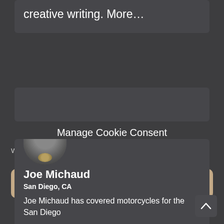creative writing. More…
[Figure (other): Gray placeholder card/banner area]
Manage Cookie Consent
We use cookies to optimize our website and our service.
Accept
[Figure (photo): Partial circular avatar photo of Joe Michaud, showing dark clothing and some detail, cropped at bottom of a card]
Joe Michaud
San Diego, CA
Joe Michaud has covered motorcycles for the San Diego